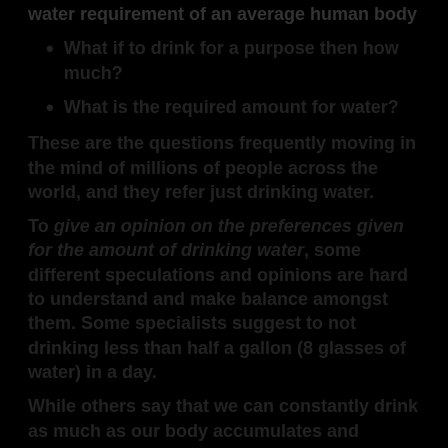water requirement of an average human body
What if to drink for a purpose then how much?
What is the required amount for water?
These are the questions frequently moving in the mind of millions of people across the world, and they refer just drinking water.
To give an opinion on the preferences given for the amount of drinking water, some different speculations and opinions are hard to understand and make balance amongst them. Some specialists suggest to not drinking less than half a gallon (8 glasses of water) in a day.
While others say that we can constantly drink as much as our body accumulates and